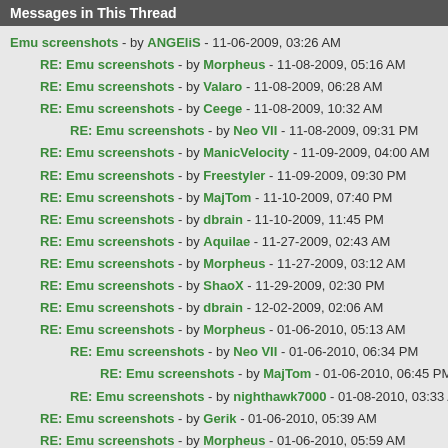Messages in This Thread
Emu screenshots - by ANGEliS - 11-06-2009, 03:26 AM
RE: Emu screenshots - by Morpheus - 11-08-2009, 05:16 AM
RE: Emu screenshots - by Valaro - 11-08-2009, 06:28 AM
RE: Emu screenshots - by Ceege - 11-08-2009, 10:32 AM
RE: Emu screenshots - by Neo VII - 11-08-2009, 09:31 PM
RE: Emu screenshots - by ManicVelocity - 11-09-2009, 04:00 AM
RE: Emu screenshots - by Freestyler - 11-09-2009, 09:30 PM
RE: Emu screenshots - by MajTom - 11-10-2009, 07:40 PM
RE: Emu screenshots - by dbrain - 11-10-2009, 11:45 PM
RE: Emu screenshots - by Aquilae - 11-27-2009, 02:43 AM
RE: Emu screenshots - by Morpheus - 11-27-2009, 03:12 AM
RE: Emu screenshots - by ShaoX - 11-29-2009, 02:30 PM
RE: Emu screenshots - by dbrain - 12-02-2009, 02:06 AM
RE: Emu screenshots - by Morpheus - 01-06-2010, 05:13 AM
RE: Emu screenshots - by Neo VII - 01-06-2010, 06:34 PM
RE: Emu screenshots - by MajTom - 01-06-2010, 06:45 PM
RE: Emu screenshots - by nighthawk7000 - 01-08-2010, 03:33 AM
RE: Emu screenshots - by Gerik - 01-06-2010, 05:39 AM
RE: Emu screenshots - by Morpheus - 01-06-2010, 05:59 AM
RE: Emu screenshots - by Vesuveus - 01-06-2010, 12:32 PM
RE: Emu screenshots - by Gerik - 01-06-2010, 07:02 PM
RE: Emu screenshots - by MajTom - 01-07-2010, 01:45 PM
RE: Emu screenshots - by Vesuveus - 01-08-2010, 01:33 PM
RE: Emu screenshots - by Morpheus - 01-08-2010, 02:12 PM